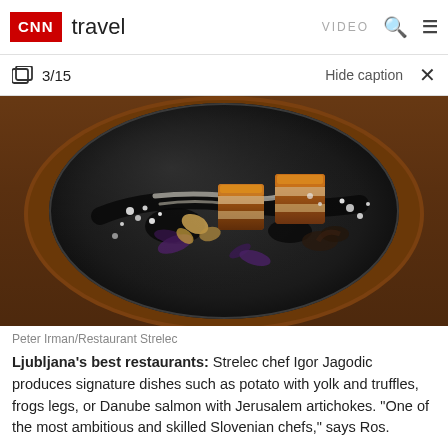CNN travel  VIDEO
3/15  Hide caption
[Figure (photo): A close-up of a gourmet dish on a dark round plate — seared meat/pork belly cubes with crumbles, purple flowers, and sauce on a black ceramic plate atop a wooden board.]
Peter Irman/Restaurant Strelec
Ljubljana's best restaurants: Strelec chef Igor Jagodic produces signature dishes such as potato with yolk and truffles, frogs legs, or Danube salmon with Jerusalem artichokes. "One of the most ambitious and skilled Slovenian chefs," says Ros.